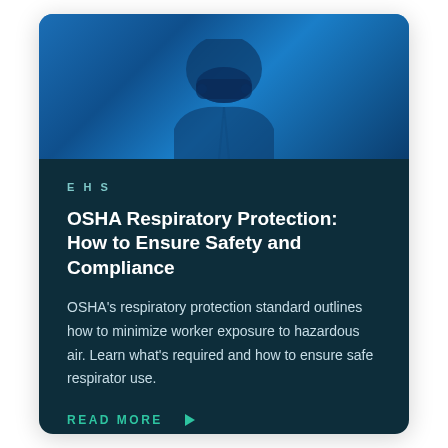[Figure (photo): Dark blue toned photograph of person wearing respiratory protection equipment, viewed from below/close-up angle]
EHS
OSHA Respiratory Protection: How to Ensure Safety and Compliance
OSHA’s respiratory protection standard outlines how to minimize worker exposure to hazardous air. Learn what’s required and how to ensure safe respirator use.
READ MORE ►